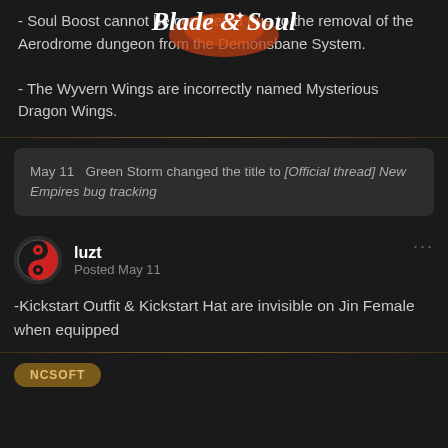- Soul Boost cannot be completed due to the removal of the Aerodrome dungeon from the Demonsbane System.
- The Wyvern Wings are incorrectly named Mysterious Dragon Wings.
[Figure (logo): Blade & Soul game logo in white and orange stylized text]
May 11  Green Storm changed the title to [Official thread] New Empires bug tracking
luzt
Posted May 11
-Kickstart Outfit & Kickstart Hat are invisible on Jin Female when equipped
NCSOFT